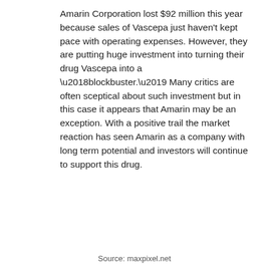Amarin Corporation lost $92 million this year because sales of Vascepa just haven't kept pace with operating expenses. However, they are putting huge investment into turning their drug Vascepa into a ‘blockbuster.’ Many critics are often sceptical about such investment but in this case it appears that Amarin may be an exception. With a positive trail the market reaction has seen Amarin as a company with long term potential and investors will continue to support this drug.
Source: maxpixel.net